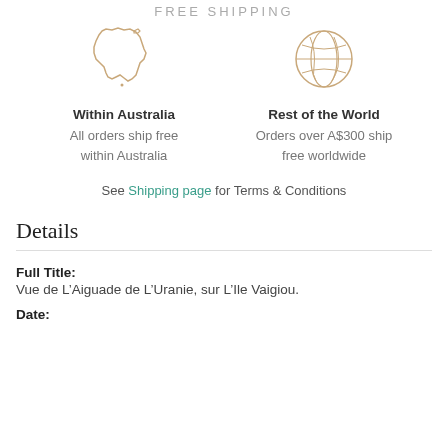FREE SHIPPING
[Figure (illustration): Outline icon of Australia map shape in tan/gold color]
Within Australia
All orders ship free within Australia
[Figure (illustration): Outline icon of globe/world in tan/gold color]
Rest of the World
Orders over A$300 ship free worldwide
See Shipping page for Terms & Conditions
Details
Full Title:
Vue de L’Aiguade de L’Uranie, sur L’Ile Vaigiou.
Date: